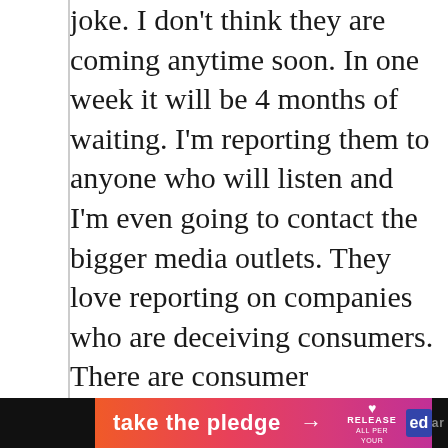joke. I don't think they are coming anytime soon. In one week it will be 4 months of waiting. I'm reporting them to anyone who will listen and I'm even going to contact the bigger media outlets. They love reporting on companies who are deceiving consumers. There are consumer protection laws and even more consumer advocate groups. I think it's time they get revealed to the general public.
[Figure (infographic): Orange to pink gradient advertisement banner reading 'take the pledge' with an arrow, followed by 'RELEASE' logo with heart icon, and an 'ed' logo in blue. Black bar on left and right sides of footer.]